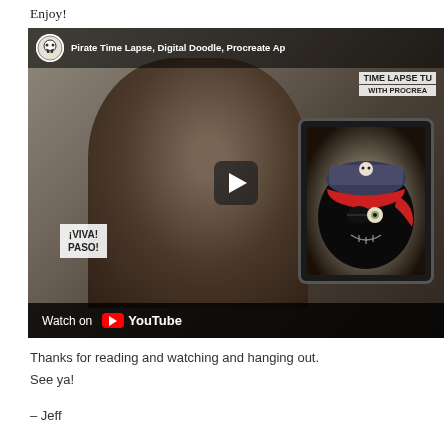Enjoy!
[Figure (screenshot): YouTube video thumbnail showing a man in a red cap holding an iPad with a pirate digital drawing, title reads 'Pirate Time Lapse, Digital Doodle, Procreate Ap...' with TIME LAPSE TU / WITH PROCREA overlay. Watch on YouTube bar at bottom.]
Thanks for reading and watching and hanging out.
See ya!
– Jeff